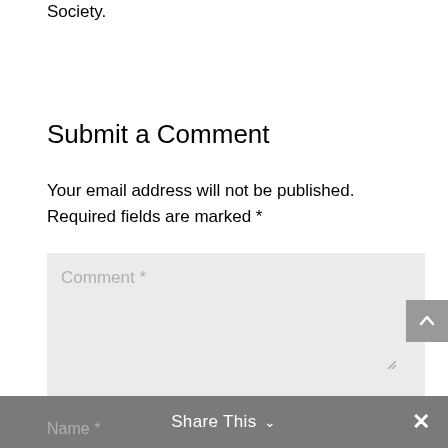Society.
Submit a Comment
Your email address will not be published. Required fields are marked *
Comment *
Share This
Name *